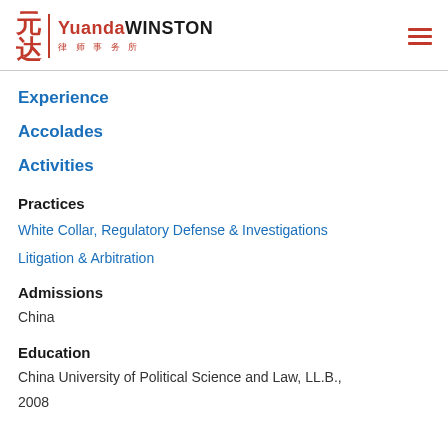Yuanda WINSTON 律师事务所
Experience
Accolades
Activities
Practices
White Collar, Regulatory Defense & Investigations
Litigation & Arbitration
Admissions
China
Education
China University of Political Science and Law, LL.B., 2008